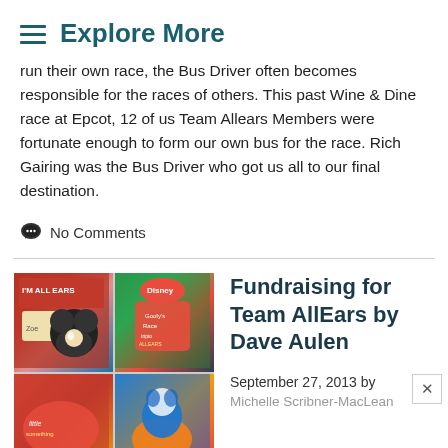Explore More
run their own race, the Bus Driver often becomes responsible for the races of others. This past Wine & Dine race at Epcot, 12 of us Team Allears Members were fortunate enough to form our own bus for the race. Rich Gairing was the Bus Driver who got us all to our final destination.
No Comments
Fundraising for Team AllEars by Dave Aulen
September 27, 2013 by
Michelle Scribner-MacLean